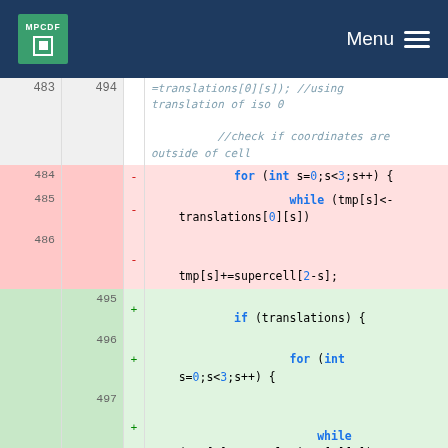MPCDF — Menu
Code diff showing lines 483-497 of a source file with deletions (red) and additions (green). Lines 484-486 are deleted (for loop with while checking translations[0][s] and tmp[s]+=supercell[2-s]). Lines 495-497 are added (if (translations) block with for loop and while).